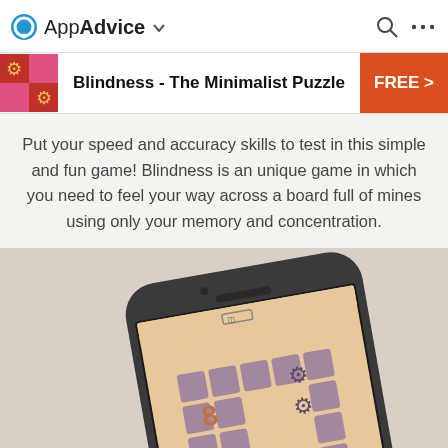AppAdvice
Blindness - The Minimalist Puzzle
Put your speed and accuracy skills to test in this simple and fun game! Blindness is an unique game in which you need to feel your way across a board full of mines using only your memory and concentration.
[Figure (screenshot): iPhone displaying the Blindness puzzle game app, showing a grid board with purple/mauve tiles and mine/gear icons on a beige background]